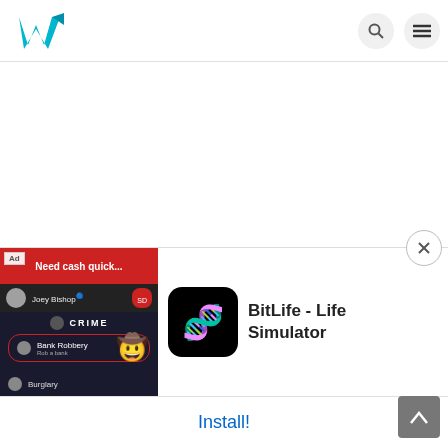Weebly website builder logo with search and menu icons
[Figure (screenshot): White blank area (advertisement space)]
If you're a creative type this multipurpose theme is certainly worth a good, hard look. Uncode's pixel-perfect concepts and easy front end editing are key selling points, though there are too many t...
[Figure (screenshot): BitLife - Life Simulator advertisement overlay showing game screenshot on left and app icon with title on right, with Install! button at bottom]